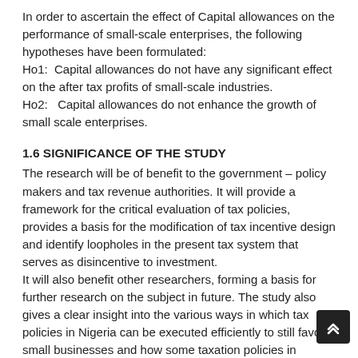In order to ascertain the effect of Capital allowances on the performance of small-scale enterprises, the following hypotheses have been formulated:
Ho1:  Capital allowances do not have any significant effect on the after tax profits of small-scale industries.
Ho2:   Capital allowances do not enhance the growth of small scale enterprises.
1.6 SIGNIFICANCE OF THE STUDY
The research will be of benefit to the government – policy makers and tax revenue authorities. It will provide a framework for the critical evaluation of tax policies, provides a basis for the modification of tax incentive design and identify loopholes in the present tax system that serves as disincentive to investment. It will also benefit other researchers, forming a basis for further research on the subject in future. The study also gives a clear insight into the various ways in which tax policies in Nigeria can be executed efficiently to still favor small businesses and how some taxation policies in Nigeria can be properly tackled. The study also gives a clear insight into the various causes of why small businesses fail in Nigeria as well as the challenges of the tax policies in Nigeria. The findings and recommendations of